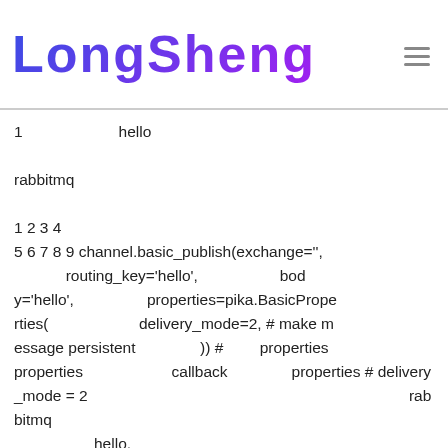LongSheng
1　　　　　　hello　　　　　　　　　　　　　　　　　　　　　　　　　　　　　　　　　　 　　　　　　　　　　　　 　　　　　　　 　　　　　　　rabbitmq　　　　　　　 　　　　　　　　　　　　　　　　　　　　　　　　　　　　　　 1 2 3 4 5 6 7 8 9 channel.basic_publish(exchange='', routing_key='hello', body='hello', properties=pika.BasicProperties( delivery_mode=2, # make message persistent )) # 　　properties　　　properties 　　　　 callback　　　properties # delivery_mode = 2 　　　　 　　　　　　　　　　　　rabbitmq 　　　　　　　　　 　　　　　hello, 　　　　　　　　　　　　　　　　 　　　　　　　　　 　　　　 　　　　　　　　　　　　　　　 durable=True　　　rabbitm q　　　　　　　 　　　durable=True